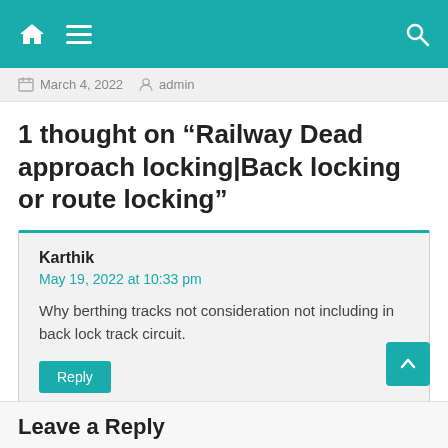Navigation bar with home, menu, and search icons
March 4, 2022  admin
1 thought on “Railway Dead approach locking|Back locking or route locking”
Karthik
May 19, 2022 at 10:33 pm
Why berthing tracks not consideration not including in back lock track circuit.
Reply
Leave a Reply